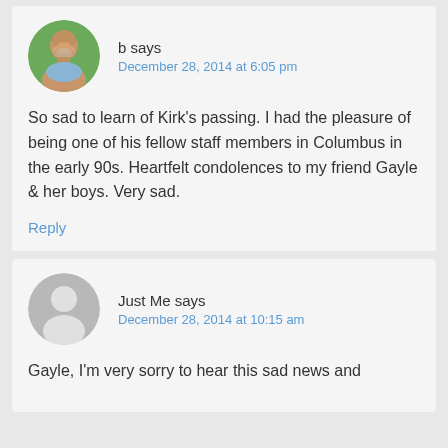b says
December 28, 2014 at 6:05 pm
So sad to learn of Kirk's passing. I had the pleasure of being one of his fellow staff members in Columbus in the early 90s. Heartfelt condolences to my friend Gayle & her boys. Very sad.
Reply
Just Me says
December 28, 2014 at 10:15 am
Gayle, I'm very sorry to hear this sad news and